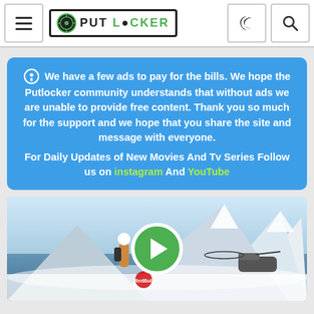PUT LOCKER
We have a few ads to pay for the bills. We hope the Putlocker community understands that without ads we are unable to provide free content. Thank you so much for the support and we hope that you share the site and message with everyone.
For Daily Updates of New Movies And Tv Series Follow us on instagram And YouTube
[Figure (photo): A snowboarder in full gear standing in a snowy mountain landscape with a helicopter in the background. A green play button overlay is centered on the image.]